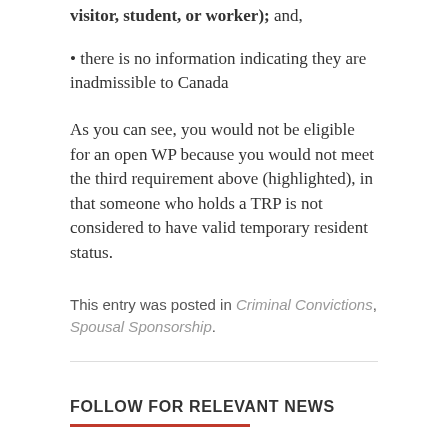visitor, student, or worker); and,
• there is no information indicating they are inadmissible to Canada
As you can see, you would not be eligible for an open WP because you would not meet the third requirement above (highlighted), in that someone who holds a TRP is not considered to have valid temporary resident status.
This entry was posted in Criminal Convictions, Spousal Sponsorship.
FOLLOW FOR RELEVANT NEWS